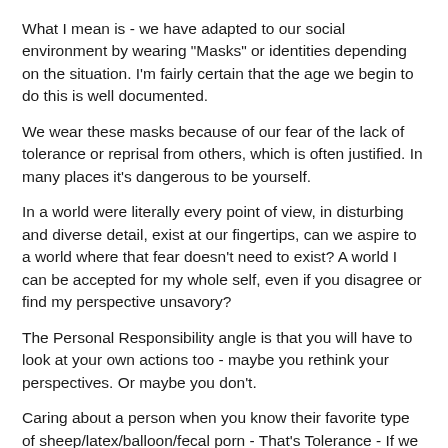What I mean is - we have adapted to our social environment by wearing "Masks" or identities depending on the situation. I'm fairly certain that the age we begin to do this is well documented.
We wear these masks because of our fear of the lack of tolerance or reprisal from others, which is often justified. In many places it's dangerous to be yourself.
In a world were literally every point of view, in disturbing and diverse detail, exist at our fingertips, can we aspire to a world where that fear doesn't need to exist? A world I can be accepted for my whole self, even if you disagree or find my perspective unsavory?
The Personal Responsibility angle is that you will have to look at your own actions too - maybe you rethink your perspectives. Or maybe you don't.
Caring about a person when you know their favorite type of sheep/latex/balloon/fecal porn - That's Tolerance - If we can get there, humans will truly be free.